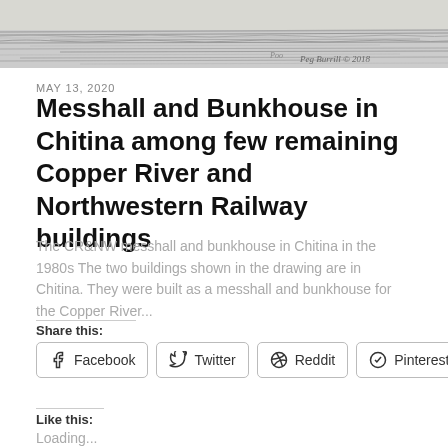[Figure (illustration): Pencil sketch/drawing of buildings, appears to be a historical scene with a landscape background. Signature reads 'Peg Burrill © 2018' in the lower right.]
MAY 13, 2020
Messhall and Bunkhouse in Chitina among few remaining Copper River and Northwestern Railway buildings
The CR&NW messhall and bunkhouse in Chitina in the 1980s The two buildings shown in the drawing are in Chitina. They were built as a messhall and bunkhouse for the Copper River...
Share this:
Facebook
Twitter
Reddit
Pinterest
Like this:
Loading...